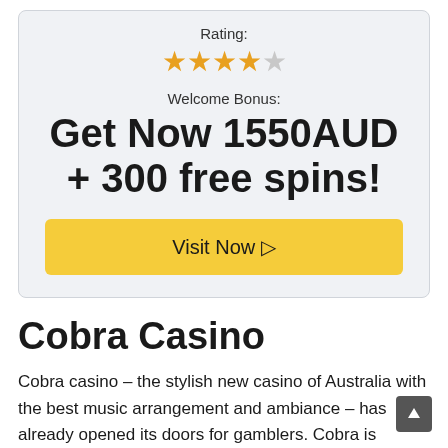Rating:
[Figure (infographic): 4 filled orange stars and 1 empty/outline star representing a rating of 4 out of 5]
Welcome Bonus:
Get Now 1550AUD + 300 free spins!
Visit Now ▷
Cobra Casino
Cobra casino – the stylish new casino of Australia with the best music arrangement and ambiance – has already opened its doors for gamblers. Cobra is